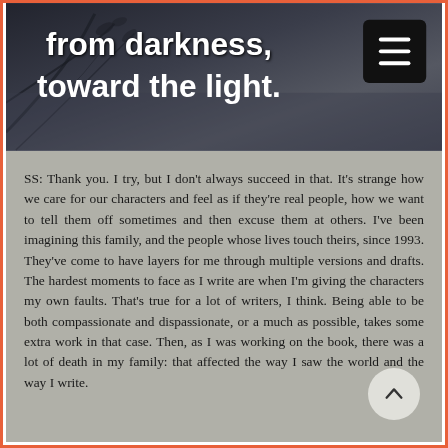[Figure (photo): Dark atmospheric photo with plants/branches against a dim background. Text overlay reads 'from darkness, toward the light.' with a hamburger menu button in top right corner.]
SS: Thank you. I try, but I don't always succeed in that. It's strange how we care for our characters and feel as if they're real people, how we want to tell them off sometimes and then excuse them at others. I've been imagining this family, and the people whose lives touch theirs, since 1993. They've come to have layers for me through multiple versions and drafts. The hardest moments to face as I write are when I'm giving the characters my own faults. That's true for a lot of writers, I think. Being able to be both compassionate and dispassionate, or as much as possible, takes some extra work in that case. Then, as I was working on the book, there was a lot of death in my family: that affected the way I saw the world and the way I write.